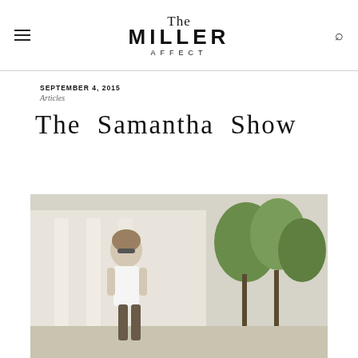The Miller Affect
SEPTEMBER 4, 2015
Articles
The Samantha Show
[Figure (photo): Woman wearing sunglasses and a white top standing outdoors near columns and trees on a sunny day]